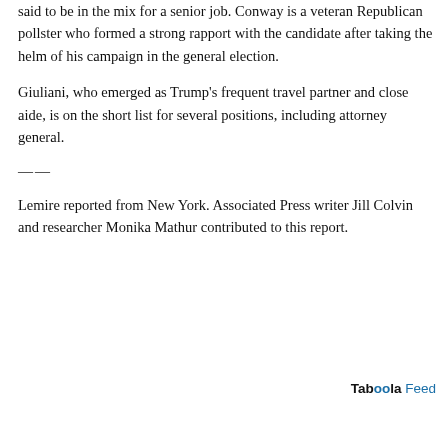said to be in the mix for a senior job. Conway is a veteran Republican pollster who formed a strong rapport with the candidate after taking the helm of his campaign in the general election.
Giuliani, who emerged as Trump's frequent travel partner and close aide, is on the short list for several positions, including attorney general.
—
Lemire reported from New York. Associated Press writer Jill Colvin and researcher Monika Mathur contributed to this report.
Taboola Feed